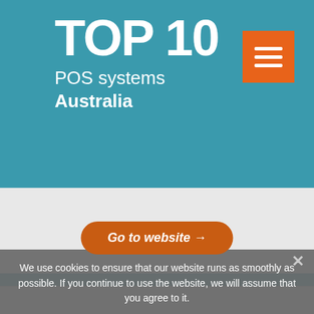TOP 10 POS systems Australia
[Figure (other): Orange hamburger menu icon button with three horizontal white lines]
ActiveCampaign CRM reviews
Go to website →
We use cookies to ensure that our website runs as smoothly as possible. If you continue to use the website, we will assume that you agree to it.
Ok